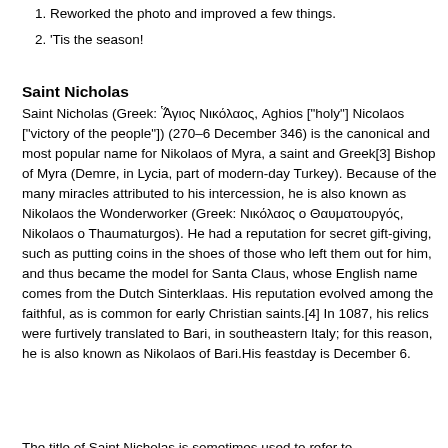1. Reworked the photo and improved a few things.
2. 'Tis the season!
Saint Nicholas
Saint Nicholas (Greek: Ἅγιος Νικόλαος, Aghios ["holy"] Nicolaos ["victory of the people"]) (270–6 December 346) is the canonical and most popular name for Nikolaos of Myra, a saint and Greek[3] Bishop of Myra (Demre, in Lycia, part of modern-day Turkey). Because of the many miracles attributed to his intercession, he is also known as Nikolaos the Wonderworker (Greek: Νικόλαος ο Θαυματουργός, Nikolaos o Thaumaturgos). He had a reputation for secret gift-giving, such as putting coins in the shoes of those who left them out for him, and thus became the model for Santa Claus, whose English name comes from the Dutch Sinterklaas. His reputation evolved among the faithful, as is common for early Christian saints.[4] In 1087, his relics were furtively translated to Bari, in southeastern Italy; for this reason, he is also known as Nikolaos of Bari.His feastday is December 6.
The title of Saint Nicholas is sometimes used to refer to...